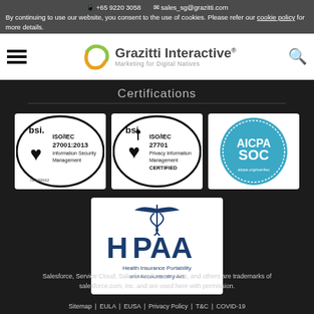By continuing to use our website, you consent to the use of cookies. Please refer our cookie policy for more details.
+65 9220 3058  sales_sg@grazitti.com  Grazitti Interactive - Marketing for Digital Natives
Certifications
[Figure (logo): BSI ISO/IEC 27001:2013 Information Security Management certification badge]
[Figure (logo): BSI ISO/IEC 27701 Privacy Information Management CERTIFIED badge]
[Figure (logo): AICPA SOC certification badge]
[Figure (logo): HIPAA - Health Insurance Portability and Accountability Act badge]
Salesforce, Service Cloud, Salesforce Communities, and others are trademarks of salesforce.com, inc. and are used here with permission.
Sitemap | EULA | EUSA | Privacy Policy | T&C | COVID-19